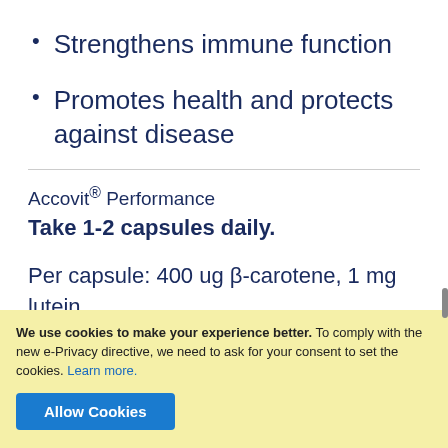Strengthens immune function
Promotes health and protects against disease
Accovit® Performance
Take 1-2 capsules daily.
Per capsule: 400 ug β-carotene, 1 mg lutein, 500 ug lycopene, (160 mg vitamin C, 18 mg
We use cookies to make your experience better. To comply with the new e-Privacy directive, we need to ask for your consent to set the cookies. Learn more.